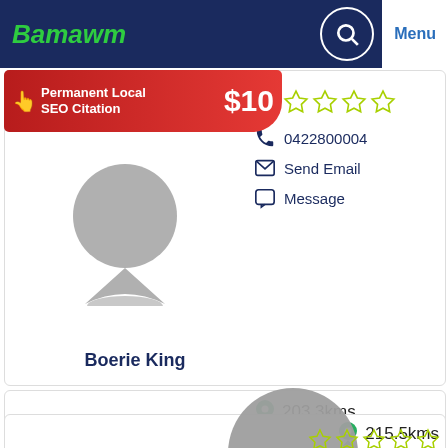Bamawm | Menu
[Figure (infographic): Ad banner: Permanent Local SEO Citation $10]
[Figure (illustration): Grey map pin icon for Boerie King listing]
Boerie King
0422800004
Send Email
Message
203.3kms
[Figure (illustration): Grey map pin icon for Garden Court Motel listing]
Garden Court Motel
0451122279
Send Email
Message
Visit Website
215.5kms